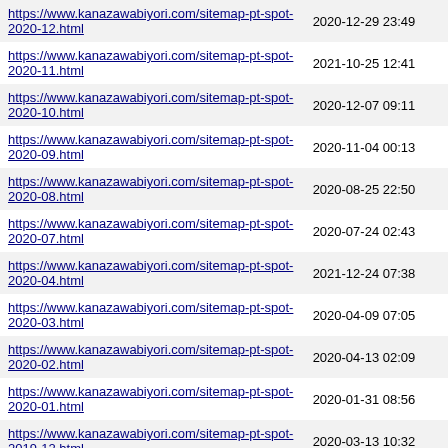| URL | Last Modified |
| --- | --- |
| https://www.kanazawabiyori.com/sitemap-pt-spot-2020-12.html | 2020-12-29 23:49 |
| https://www.kanazawabiyori.com/sitemap-pt-spot-2020-11.html | 2021-10-25 12:41 |
| https://www.kanazawabiyori.com/sitemap-pt-spot-2020-10.html | 2020-12-07 09:11 |
| https://www.kanazawabiyori.com/sitemap-pt-spot-2020-09.html | 2020-11-04 00:13 |
| https://www.kanazawabiyori.com/sitemap-pt-spot-2020-08.html | 2020-08-25 22:50 |
| https://www.kanazawabiyori.com/sitemap-pt-spot-2020-07.html | 2020-07-24 02:43 |
| https://www.kanazawabiyori.com/sitemap-pt-spot-2020-04.html | 2021-12-24 07:38 |
| https://www.kanazawabiyori.com/sitemap-pt-spot-2020-03.html | 2020-04-09 07:05 |
| https://www.kanazawabiyori.com/sitemap-pt-spot-2020-02.html | 2020-04-13 02:09 |
| https://www.kanazawabiyori.com/sitemap-pt-spot-2020-01.html | 2020-01-31 08:56 |
| https://www.kanazawabiyori.com/sitemap-pt-spot-2019-12.html | 2020-03-13 10:32 |
| https://www.kanazawabiyori.com/sitemap-pt-spot-2019-11.html | 2020-01-27 06:37 |
| https://www.kanazawabiyori.com/sitemap-pt-spot-2019-10.html | 2020-04-10 02:59 |
| https://www.kanazawabiyori.com/sitemap-pt-spot-2019-09.html | 2022-07-11 03:40 |
| https://www.kanazawabiyori.com/sitemap-pt-spot-2019-08.html | 2020-04-13 08:03 |
| https://www.kanazawabiyori.com/sitemap-pt-spot-2019-07.html | 2020-01-07 01:26 |
| https://www.kanazawabiyori.com/sitemap-pt-spot-2019-06.html | 2020-03-13 08:38 |
| https://www.kanazawabiyori.com/sitemap-pt-spot-2019-05.html | 2020-03-18 08:35 |
| https://www.kanazawabiyori.com/sitemap-pt-spot-2019-04.html | 2021-04-30 08:26 |